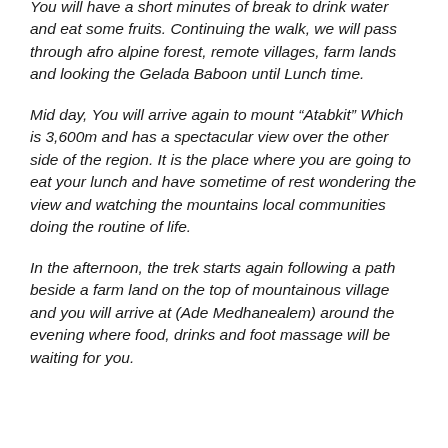You will have a short minutes of break to drink water and eat some fruits. Continuing the walk, we will pass through afro alpine forest, remote villages, farm lands and looking the Gelada Baboon until Lunch time.
Mid day, You will arrive again to mount “Atabkit” Which is 3,600m and has a spectacular view over the other side of the region. It is the place where you are going to eat your lunch and have sometime of rest wondering the view and watching the mountains local communities doing the routine of life.
In the afternoon, the trek starts again following a path beside a farm land on the top of mountainous village and you will arrive at (Ade Medhanealem) around the evening where food, drinks and foot massage will be waiting for you.